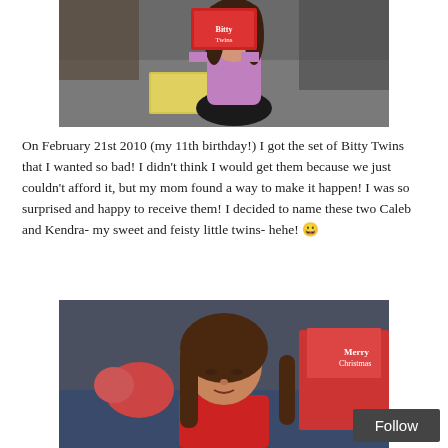[Figure (photo): Girl with curly hair kneeling on carpet holding up American Girl Bitty Twins box, with a yellow box on the floor in front of her]
On February 21st 2010 (my 11th birthday!) I got the set of Bitty Twins that I wanted so bad! I didn't think I would get them because we just couldn't afford it, but my mom found a way to make it happen! I was so surprised and happy to receive them! I decided to name these two Caleb and Kendra- my sweet and feisty little twins- hehe! 😀
[Figure (photo): Young girl with brown hair looking down, wearing a red shirt, with Christmas presents visible in the background]